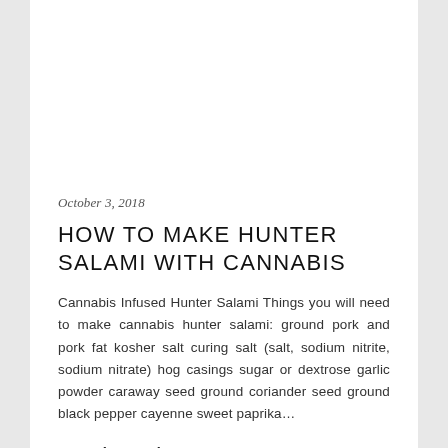October 3, 2018
HOW TO MAKE HUNTER SALAMI WITH CANNABIS
Cannabis Infused Hunter Salami Things you will need to make cannabis hunter salami: ground pork and pork fat kosher salt curing salt (salt, sodium nitrite, sodium nitrate) hog casings sugar or dextrose garlic powder caraway seed ground coriander seed ground black pepper cayenne sweet paprika…
Meats  -  by Joe Balazs  -  3 Comments